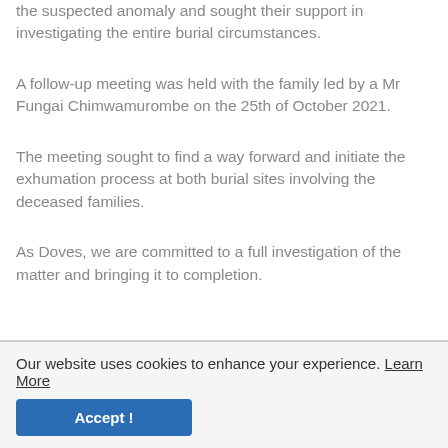the suspected anomaly and sought their support in investigating the entire burial circumstances.
A follow-up meeting was held with the family led by a Mr Fungai Chimwamurombe on the 25th of October 2021.
The meeting sought to find a way forward and initiate the exhumation process at both burial sites involving the deceased families.
As Doves, we are committed to a full investigation of the matter and bringing it to completion.
Our website uses cookies to enhance your experience. Learn More
Accept !